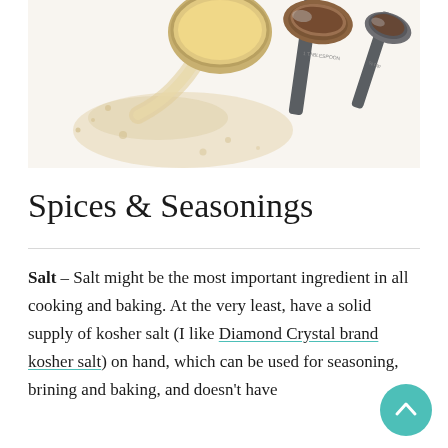[Figure (photo): Measuring spoons and scoops with spices — golden powder spilled from a round scoop on the left, and two metal measuring spoons with dark spice on the right, on a white background.]
Spices & Seasonings
Salt – Salt might be the most important ingredient in all cooking and baking. At the very least, have a solid supply of kosher salt (I like Diamond Crystal brand kosher salt) on hand, which can be used for seasoning, brining and baking, and doesn't have